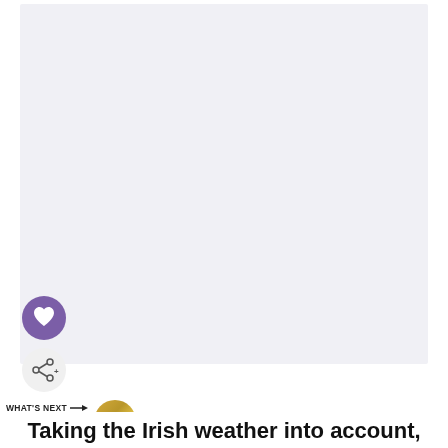[Figure (photo): Large light gray rectangular image placeholder area occupying the upper portion of the page]
[Figure (illustration): Purple circular button with white heart icon (favorite/like button)]
[Figure (illustration): White circular button with share icon (share+ button)]
WHAT'S NEXT → Why Kiss the Blarney Sto...
Taking the Irish weather into account,